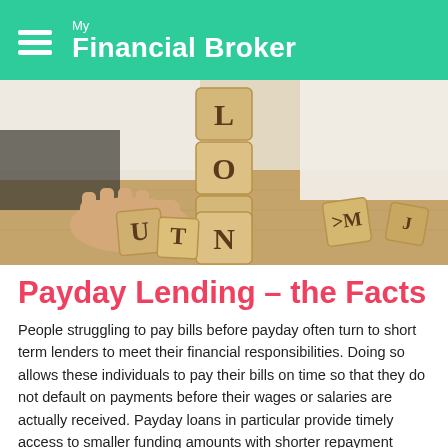My Financial Broker
[Figure (photo): Person arranging wooden letter blocks spelling LOAN on a wooden table, wearing a white shirt, with scattered letter blocks around]
Payday Lending – the Facts
People struggling to pay bills before payday often turn to short term lenders to meet their financial responsibilities. Doing so allows these individuals to pay their bills on time so that they do not default on payments before their wages or salaries are actually received. Payday loans in particular provide timely access to smaller funding amounts with shorter repayment periods.